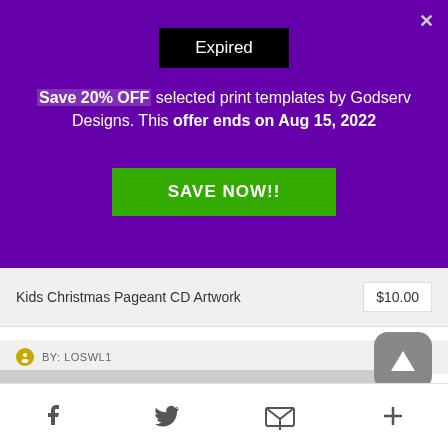Expired
Save 20% OFF selected print templates by Godserv Designs. This offer ends on Aug 15, 2022
SAVE NOW!!
Kids Christmas Pageant CD Artwork
$10.00
BY: LOSWL1